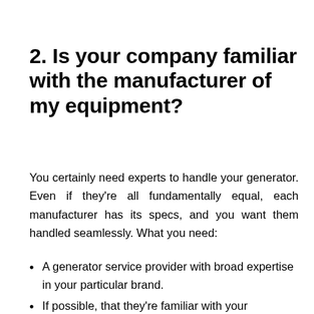2. Is your company familiar with the manufacturer of my equipment?
You certainly need experts to handle your generator. Even if they're all fundamentally equal, each manufacturer has its specs, and you want them handled seamlessly. What you need:
A generator service provider with broad expertise in your particular brand.
If possible, that they're familiar with your